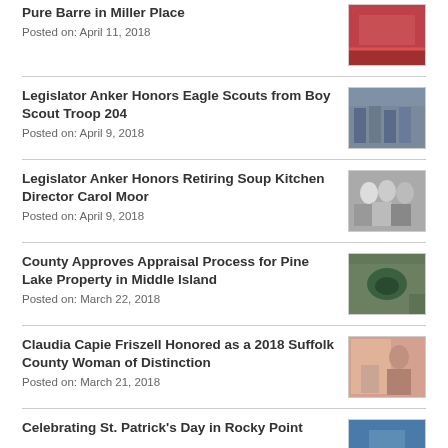Pure Barre in Miller Place
Posted on: April 11, 2018
[Figure (photo): Photo related to Pure Barre ribbon cutting]
Legislator Anker Honors Eagle Scouts from Boy Scout Troop 204
Posted on: April 9, 2018
[Figure (photo): Photo of Eagle Scouts from Boy Scout Troop 204]
Legislator Anker Honors Retiring Soup Kitchen Director Carol Moor
Posted on: April 9, 2018
[Figure (photo): Photo of Carol Moor with Legislator Anker]
County Approves Appraisal Process for Pine Lake Property in Middle Island
Posted on: March 22, 2018
[Figure (photo): Aerial photo of Pine Lake Property in Middle Island]
Claudia Capie Friszell Honored as a 2018 Suffolk County Woman of Distinction
Posted on: March 21, 2018
[Figure (photo): Photo of Claudia Capie Friszell with award]
Celebrating St. Patrick's Day in Rocky Point